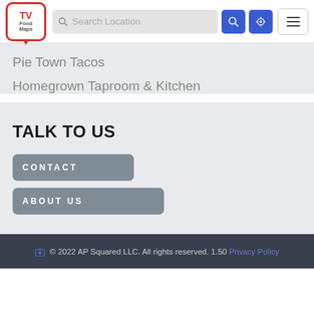TV FoodMaps — Search Location header with navigation buttons
Pie Town Tacos
Homegrown Taproom & Kitchen
TALK TO US
CONTACT
ABOUT US
© 2022 AP Squared LLC. All rights reserved. 1.50 Privacy Policy